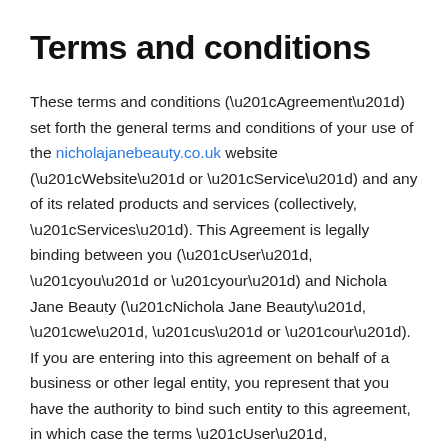Terms and conditions
These terms and conditions (“Agreement”) set forth the general terms and conditions of your use of the nicholajanebeauty.co.uk website (“Website” or “Service”) and any of its related products and services (collectively, “Services”). This Agreement is legally binding between you (“User”, “you” or “your”) and Nichola Jane Beauty (“Nichola Jane Beauty”, “we”, “us” or “our”). If you are entering into this agreement on behalf of a business or other legal entity, you represent that you have the authority to bind such entity to this agreement, in which case the terms “User”, “you” or “your” shall refer to such